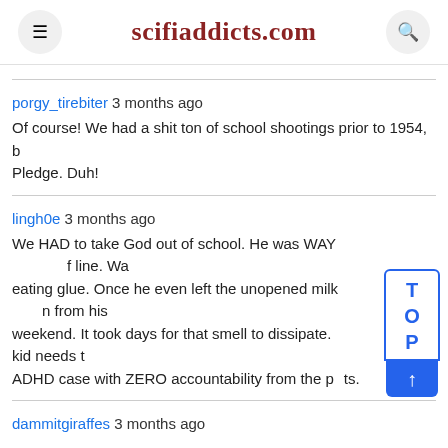scifiaddicts.com
porgy_tirebiter 3 months ago
Of course! We had a shit ton of school shootings prior to 1954, b... Pledge. Duh!
lingh0e 3 months ago
We HAD to take God out of school. He was WAY out of line. Wa... eating glue. Once he even left the unopened milk... n from his weekend. It took days for that smell to dissipate. ...kid needs t... ADHD case with ZERO accountability from the p...ts.
dammitgiraffes 3 months ago